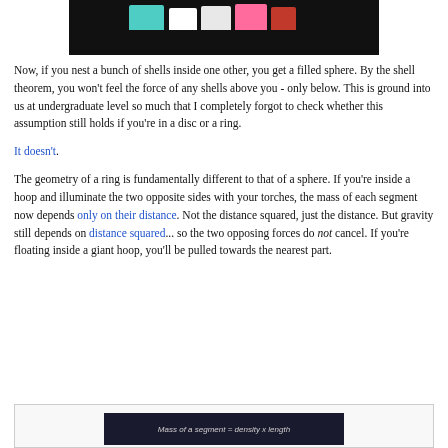[Figure (photo): Partial view of a colorful image on dark background, cropped at top of page]
Now, if you nest a bunch of shells inside one other, you get a filled sphere. By the shell theorem, you won't feel the force of any shells above you - only below. This is ground into us at undergraduate level so much that I completely forgot to check whether this assumption still holds if you're in a disc or a ring.
It doesn't.
The geometry of a ring is fundamentally different to that of a sphere. If you're inside a hoop and illuminate the two opposite sides with your torches, the mass of each segment now depends only on their distance. Not the distance squared, just the distance. But gravity still depends on distance squared... so the two opposing forces do not cancel. If you're floating inside a giant hoop, you'll be pulled towards the nearest part.
[Figure (photo): Dark background image showing partial equation text: Mass of a segment = density x length]